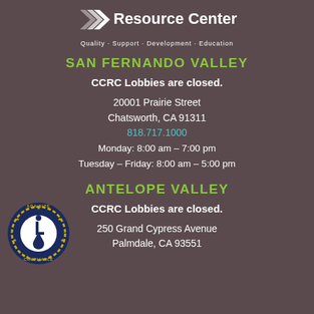[Figure (logo): CCRC Resource Center logo with tagline 'Quality · Support · Development · Education']
SAN FERNANDO VALLEY
CCRC Lobbies are closed.
20001 Prairie Street
Chatsworth, CA 91311
818.717.1000
Monday: 8:00 am – 7:00 pm
Tuesday – Friday: 8:00 am – 5:00 pm
ANTELOPE VALLEY
CCRC Lobbies are closed.
250 Grand Cypress Avenue
Palmdale, CA 93551
[Figure (logo): ADA Site Compliance badge with wheelchair accessibility symbol]